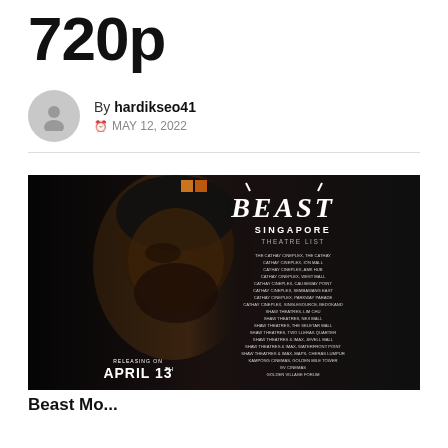720p
By hardikseo41
MAY 12, 2022
[Figure (photo): Beast movie promotional poster showing a man's face on the left half with dark dramatic styling, and on the right the Beast logo with Singapore Theatre List text listing multiple theatres, releasing on April 13th]
Beast Mo...